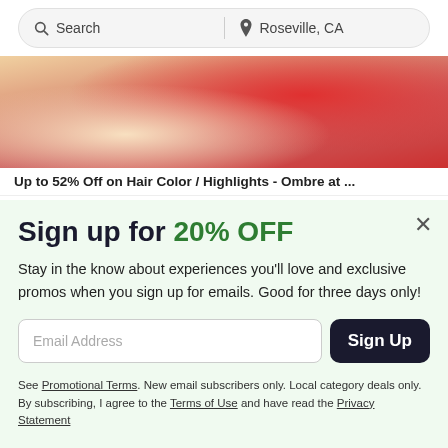[Figure (screenshot): Search bar with search icon and 'Search' text on the left, location pin icon and 'Roseville, CA' on the right]
[Figure (photo): Cropped photo showing a woman with blonde hair wearing a red outfit]
Up to 52% Off on Hair Color / Highlights - Ombre at ...
Sign up for 20% OFF
Stay in the know about experiences you'll love and exclusive promos when you sign up for emails. Good for three days only!
Email Address
Sign Up
See Promotional Terms. New email subscribers only. Local category deals only. By subscribing, I agree to the Terms of Use and have read the Privacy Statement